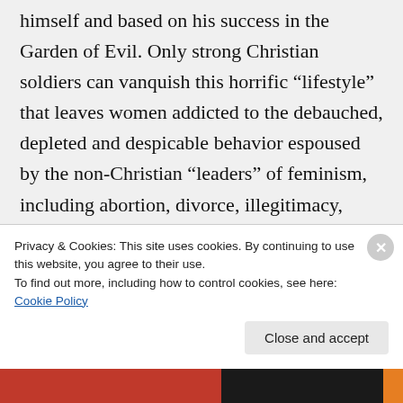himself and based on his success in the Garden of Evil. Only strong Christian soldiers can vanquish this horrific “lifestyle” that leaves women addicted to the debauched, depleted and despicable behavior espoused by the non-Christian “leaders” of feminism, including abortion, divorce, illegitimacy, promiscuity and “career” over family. Whenever I list the “ideals” of feminism, and considered it’s
Privacy & Cookies: This site uses cookies. By continuing to use this website, you agree to their use.
To find out more, including how to control cookies, see here: Cookie Policy